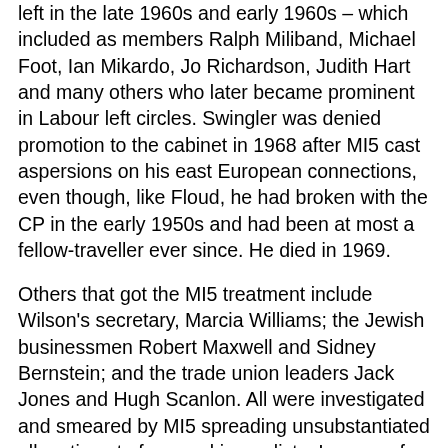left in the late 1960s and early 1960s – which included as members Ralph Miliband, Michael Foot, Ian Mikardo, Jo Richardson, Judith Hart and many others who later became prominent in Labour left circles. Swingler was denied promotion to the cabinet in 1968 after MI5 cast aspersions on his east European connections, even though, like Floud, he had broken with the CP in the early 1950s and had been at most a fellow-traveller ever since. He died in 1969.
Others that got the MI5 treatment include Wilson's secretary, Marcia Williams; the Jewish businessmen Robert Maxwell and Sidney Bernstein; and the trade union leaders Jack Jones and Hugh Scanlon. All were investigated and smeared by MI5 spreading unsubstantiated allegations to favoured journalists. In none of their cases has evidence turned up that can be said to implicate them in espionage.
Jones was named, after his death in 2009, by the former Soviet-British double-agent agent Oleg Gordievsky as having accepted payment for information in the mid-1960s and then again in the 1980s (when Jones was running the National Pensioners Convention). But Gordievsky's reliability is questionable – in particular on anything that is alleged to